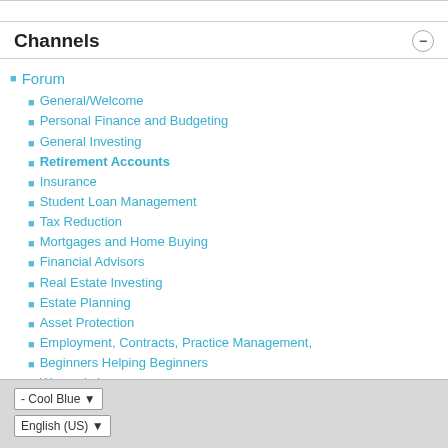Channels
Forum
General/Welcome
Personal Finance and Budgeting
General Investing
Retirement Accounts
Insurance
Student Loan Management
Tax Reduction
Mortgages and Home Buying
Financial Advisors
Real Estate Investing
Estate Planning
Asset Protection
Employment, Contracts, Practice Management,
Beginners Helping Beginners
Women's Issues
The Lounge
- Cool Blue
English (US)